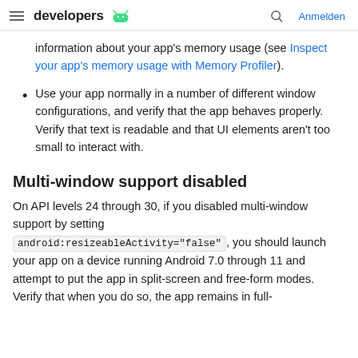developers | Anmelden
information about your app's memory usage (see Inspect your app's memory usage with Memory Profiler).
Use your app normally in a number of different window configurations, and verify that the app behaves properly. Verify that text is readable and that UI elements aren't too small to interact with.
Multi-window support disabled
On API levels 24 through 30, if you disabled multi-window support by setting android:resizeableActivity="false", you should launch your app on a device running Android 7.0 through 11 and attempt to put the app in split-screen and free-form modes. Verify that when you do so, the app remains in full-